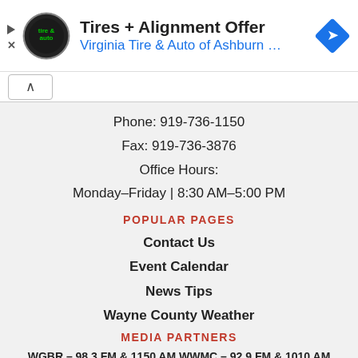[Figure (screenshot): Advertisement banner for Virginia Tire & Auto of Ashburn with circular logo and blue navigation arrow icon]
Phone: 919-736-1150
Fax: 919-736-3876
Office Hours:
Monday–Friday | 8:30 AM–5:00 PM
POPULAR PAGES
Contact Us
Event Calendar
News Tips
Wayne County Weather
MEDIA PARTNERS
WGBR – 98.3 FM & 1150 AM WWMC – 92.9 FM & 1010 AM
WZKT – 97.7 FM – Katie Country WFMC – 105.7 FM & 730 AM
WSSG – 92.7 JAMZ & 1300 AM
GOLDSBORO